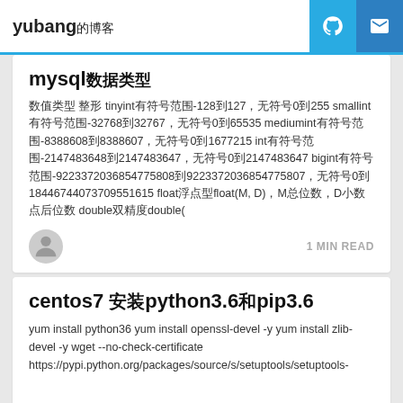yubang
mysql数据类型
数值类型 整形 tinyint有符号范围-128到127，无符号0到255 smallint有符号范围-32768到32767，无符号0到65535 mediumint有符号范围-8388608到8388607，无符号0到1677215 int有符号范围-2147483648到2147483647，无符号0到2147483647 bigint有符号范围-9223372036854775808到9223372036854775807，无符号0到18446744073709551615 float浮点型float(M, D)，M总位数，D小数点后位数 double双精度double(
1 MIN READ
centos7 安装python3.6和pip3.6
yum install python36 yum install openssl-devel -y yum install zlib-devel -y wget --no-check-certificate https://pypi.python.org/packages/source/s/setuptools/setuptools-